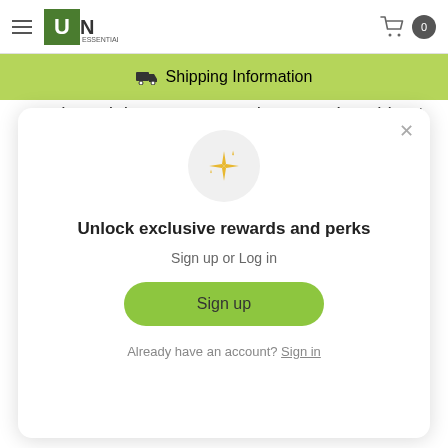UN Essentials — navigation header with hamburger menu, logo, and cart (0 items)
🚚 Shipping Information
purchased the pure mango butter so I could put together my famous beard butter..works incredible nice and fluffy
[Figure (other): Loyalty rewards modal popup with sparkle icon, heading 'Unlock exclusive rewards and perks', subtitle 'Sign up or Log in', a green Sign up button, and 'Already have an account? Sign in' link]
Unlock exclusive rewards and perks
Sign up or Log in
Sign up
Already have an account? Sign in